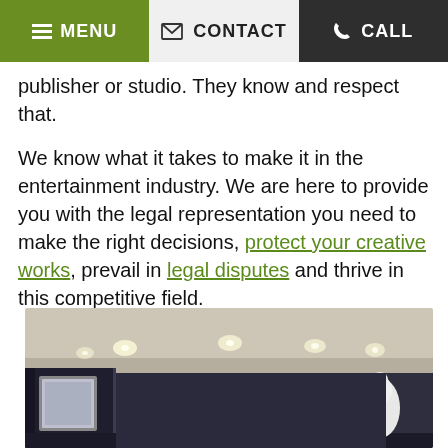MENU  CONTACT  CALL
publisher or studio. They know and respect that.
We know what it takes to make it in the entertainment industry. We are here to provide you with the legal representation you need to make the right decisions, protect your creative works, prevail in legal disputes and thrive in this competitive field.
[Figure (photo): Interior photo of what appears to be a law office or professional space with recessed ceiling lights, dark walls, a framed picture on the left wall, and a white decorative figure on the right side.]